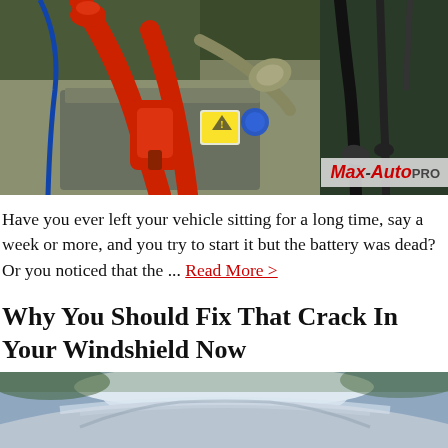[Figure (photo): Close-up photo of a car battery with red jumper cable clamps attached, along with various wires and connectors visible in an engine bay. A Max-Auto PRO logo is overlaid in the bottom-right corner.]
Have you ever left your vehicle sitting for a long time, say a week or more, and you try to start it but the battery was dead? Or you noticed that the ... Read More >
Why You Should Fix That Crack In Your Windshield Now
[Figure (photo): Partial view of a car roof/windshield from above, showing a silver/grey car exterior against a green background.]